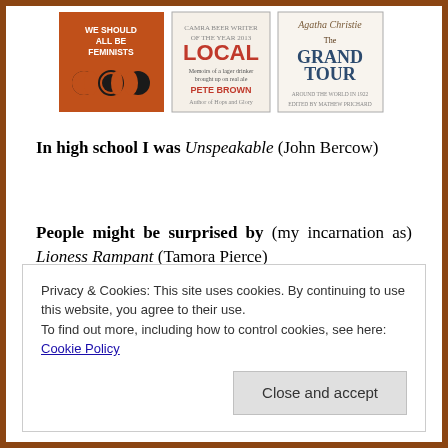[Figure (illustration): Three book covers side by side: 'We Should All Be Feminists' (orange cover with moon phase icons), 'Local' by Pete Brown (illustrated cover), and 'The Grand Tour' by Agatha Christie (illustrated cover)]
In high school I was Unspeakable (John Bercow)
People might be surprised by (my incarnation as) Lioness Rampant (Tamora Pierce)
I will never be The Horse You Came in On (Martha
Privacy & Cookies: This site uses cookies. By continuing to use this website, you agree to their use.
To find out more, including how to control cookies, see here: Cookie Policy
Close and accept